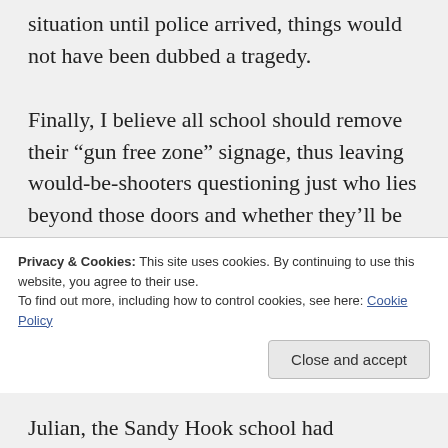situation until police arrived, things would not have been dubbed a tragedy.
Finally, I believe all school should remove their “gun free zone” signage, thus leaving would-be-shooters questioning just who lies beyond those doors and whether they’ll be able to accomplish their agenda or if they’ll be the ones becoming the agenda.
Privacy & Cookies: This site uses cookies. By continuing to use this website, you agree to their use.
To find out more, including how to control cookies, see here: Cookie Policy
Julian, the Sandy Hook school had